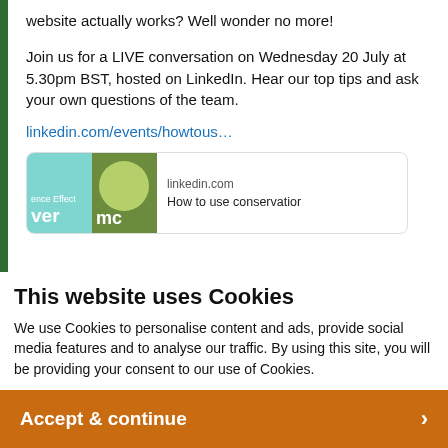website actually works? Well wonder no more!
Join us for a LIVE conversation on Wednesday 20 July at 5.30pm BST, hosted on LinkedIn. Hear our top tips and ask your own questions of the team.
linkedin.com/events/howtous…
[Figure (screenshot): LinkedIn event preview card showing domain 'linkedin.com' and partial title 'How to use conservatior' with thumbnail images]
This website uses Cookies
We use Cookies to personalise content and ads, provide social media features and to analyse our traffic. By using this site, you will be providing your consent to our use of Cookies.
Accept & continue